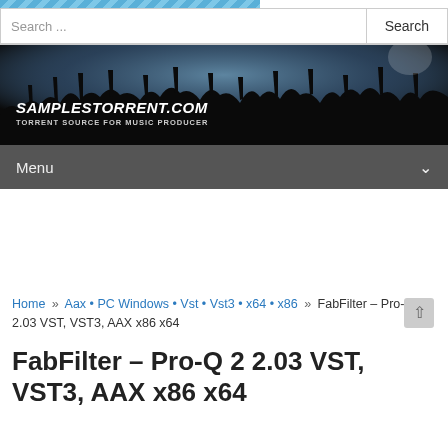[Figure (screenshot): Blue diagonal striped banner at top of website]
Search ...  Search
[Figure (photo): Concert crowd with raised hands in dark atmospheric lighting, banner for SAMPLESTORRENT.COM - TORRENT SOURCE FOR MUSIC PRODUCER]
Menu
Home » Aax • PC Windows • Vst • Vst3 • x64 • x86 » FabFilter – Pro-Q 2 2.03 VST, VST3, AAX x86 x64
FabFilter – Pro-Q 2 2.03 VST, VST3, AAX x86 x64